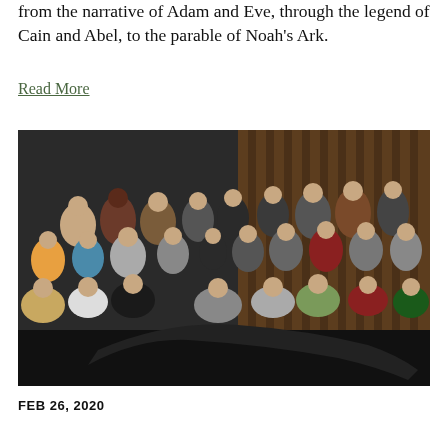from the narrative of Adam and Eve, through the legend of Cain and Abel, to the parable of Noah's Ark.
Read More
[Figure (photo): Group photo of approximately 30 students and adults posing together on a stage or performance space with a dark wooden wall backdrop. Some participants are seated on the floor while others stand in rows behind them.]
FEB 26, 2020